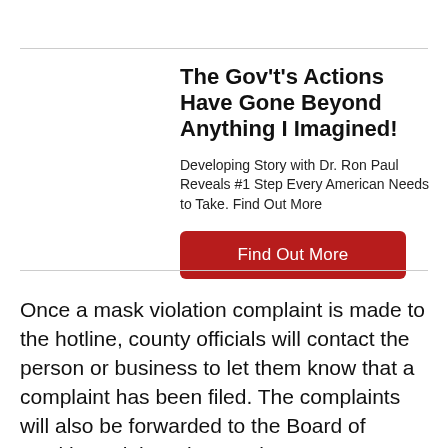The Gov't's Actions Have Gone Beyond Anything I Imagined!
Developing Story with Dr. Ron Paul Reveals #1 Step Every American Needs to Take. Find Out More
Find Out More
Once a mask violation complaint is made to the hotline, county officials will contact the person or business to let them know that a complaint has been filed. The complaints will also be forwarded to the Board of Health, and the relevant city or town.